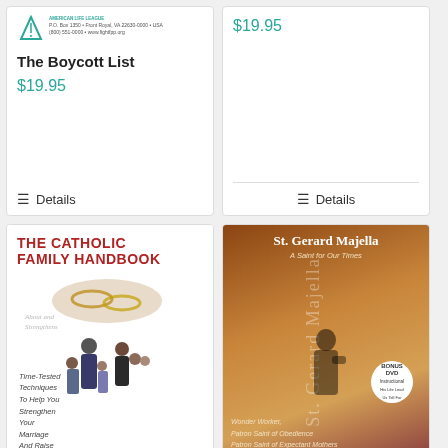[Figure (other): Product card for 'The Boycott List' book with logo at top, title, price $19.95, and Details button]
[Figure (other): Product card showing price $19.95 and Details button, no title visible]
[Figure (other): Book cover of 'The Catholic Family Handbook' showing married couple with children and subtitle 'Time-Tested Techniques To Help You Strengthen Your Marriage And Raise']
[Figure (other): Book/DVD cover of 'St. Gerard Majella: A Saint for Our Times' showing silhouette of person, Bonus DVD sticker, text 'Wonder Worker, Patron Saint of Obedience, Patron Saint of Expectant Mothers']